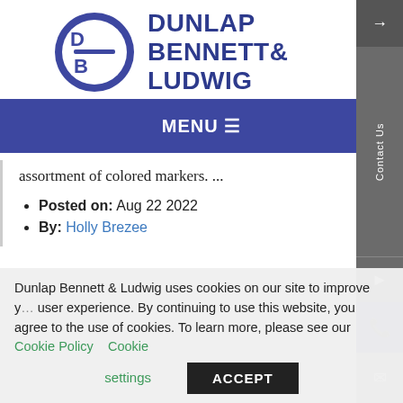[Figure (logo): Dunlap Bennett & Ludwig law firm logo with circular DB icon and blue text]
MENU ☰
assortment of colored markers. ...
Posted on: Aug 22 2022
By: Holly Brezee
Dunlap Bennett & Ludwig uses cookies on our site to improve your user experience. By continuing to use this website, you agree to the use of cookies. To learn more, please see our Cookie Policy
Cookie settings
ACCEPT